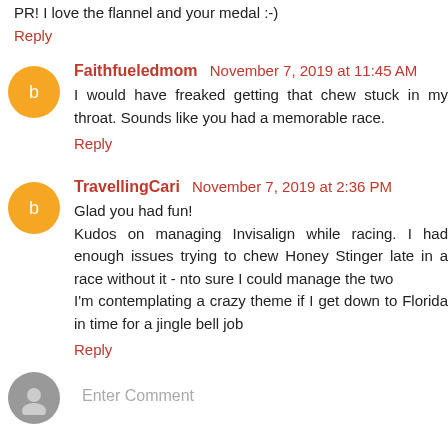PR! I love the flannel and your medal :-)
Reply
Faithfueledmom November 7, 2019 at 11:45 AM
I would have freaked getting that chew stuck in my throat. Sounds like you had a memorable race.
Reply
TravellingCari November 7, 2019 at 2:36 PM
Glad you had fun!
Kudos on managing Invisalign while racing. I had enough issues trying to chew Honey Stinger late in a race without it - nto sure I could manage the two
I'm contemplating a crazy theme if I get down to Florida in time for a jingle bell job
Reply
Enter Comment